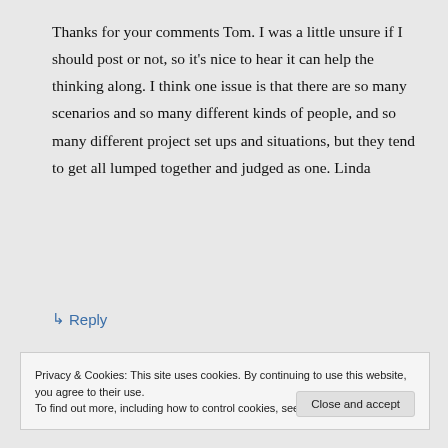Thanks for your comments Tom. I was a little unsure if I should post or not, so it's nice to hear it can help the thinking along. I think one issue is that there are so many scenarios and so many different kinds of people, and so many different project set ups and situations, but they tend to get all lumped together and judged as one. Linda
↳ Reply
Privacy & Cookies: This site uses cookies. By continuing to use this website, you agree to their use.
To find out more, including how to control cookies, see here: Cookie Policy
Close and accept